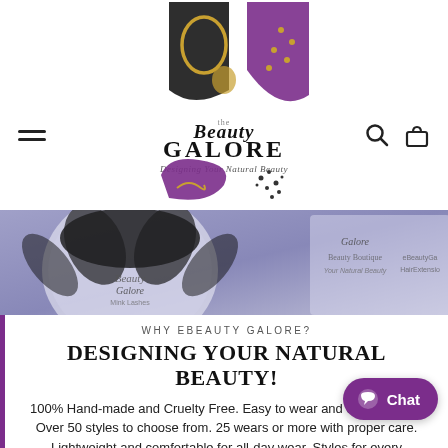[Figure (logo): eBeauty Galore logo with decorative black, gold, purple geometric shapes and script text 'Designing Your Natural Beauty']
[Figure (photo): Close-up product photo of false eyelashes in a round Beauty Galore branded compact, with branded packaging in the background]
WHY EBEAUTY GALORE?
DESIGNING YOUR NATURAL BEAUTY!
100% Hand-made and Cruelty Free. Easy to wear and damage free. Over 50 styles to choose from. 25 wears or more with proper care. Lightweight and comfortable for all-day wear. Styles for every occasion.